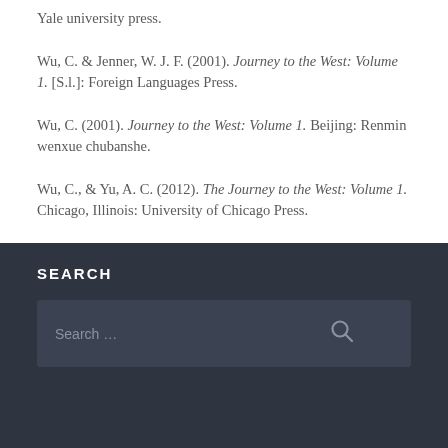Yale university press.
Wu, C. & Jenner, W. J. F. (2001). Journey to the West: Volume 1. [S.l.]: Foreign Languages Press.
Wu, C. (2001). Journey to the West: Volume 1. Beijing: Renmin wenxue chubanshe.
Wu, C., & Yu, A. C. (2012). The Journey to the West: Volume 1. Chicago, Illinois: University of Chicago Press.
SEARCH